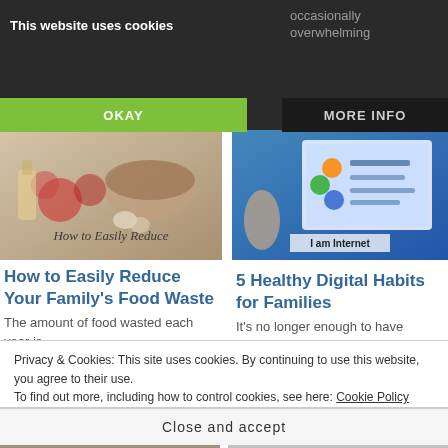This website uses cookies
occasionally overwhelming
OKAY
MORE INFO
[Figure (photo): Food items including vegetables and a bowl, with cursive text overlay reading 'How to Easily Reduce']
[Figure (photo): Digital device screen with colorful icons and text 'I am Internet']
How to Easily Reduce Your Family's Food Waste
5 Healthy Digital Habits for Families
The amount of food wasted each year is
It's no longer enough to have parental controls on our kids' digital devices.
Privacy & Cookies: This site uses cookies. By continuing to use this website, you agree to their use.
To find out more, including how to control cookies, see here: Cookie Policy
Close and accept
[Figure (photo): Bottom left thumbnail image]
[Figure (photo): Bottom right thumbnail image]